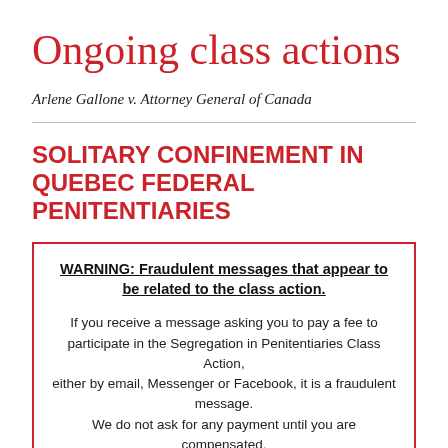Ongoing class actions
Arlene Gallone v. Attorney General of Canada
SOLITARY CONFINEMENT IN QUEBEC FEDERAL PENITENTIARIES
WARNING: Fraudulent messages that appear to be related to the class action.

If you receive a message asking you to pay a fee to participate in the Segregation in Penitentiaries Class Action, either by email, Messenger or Facebook, it is a fraudulent message. We do not ask for any payment until you are compensated.

If you are aware of the authenticity of a message, please check with the...